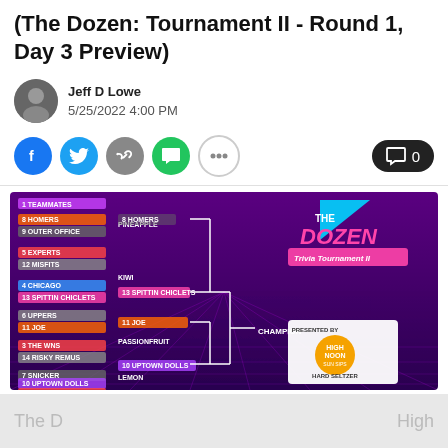(The Dozen: Tournament II - Round 1, Day 3 Preview)
Jeff D Lowe
5/25/2022 4:00 PM
[Figure (screenshot): The Dozen Trivia Tournament II bracket graphic showing tournament bracket with teams seeded 1-15, labels for PINEAPPLE, KIWI, PASSIONFRUIT, LEMON matchups, CHAMPION label, and 'Presented by High Noon Hard Seltzer' sponsor logo. Purple retro 80s style background.]
The D... High